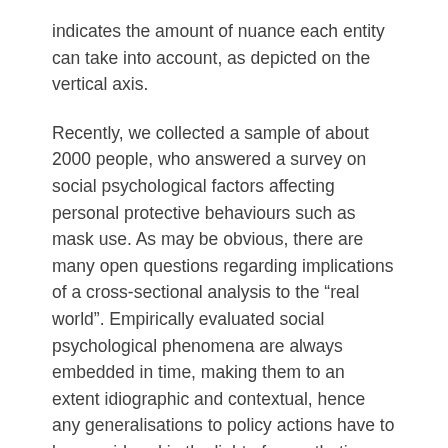indicates the amount of nuance each entity can take into account, as depicted on the vertical axis.
Recently, we collected a sample of about 2000 people, who answered a survey on social psychological factors affecting personal protective behaviours such as mask use. As may be obvious, there are many open questions regarding implications of a cross-sectional analysis to the “real world”. Empirically evaluated social psychological phenomena are always embedded in time, making them to an extent idiographic and contextual, hence any generalisations to policy actions have to be considered in the light of nomothetic knowledge of complex systems. That is, the question of how we increase protective behaviours in the society is a multifaceted problem,